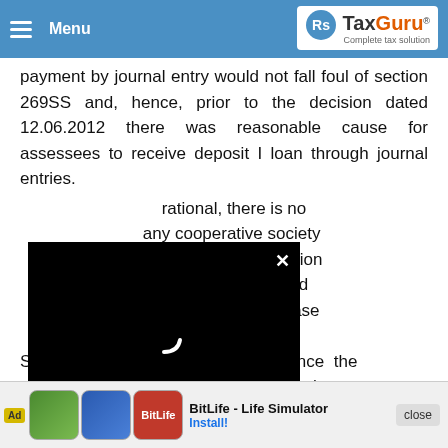decisions of various benches of tribunal and a delhi high court decision on that payment by journal entry would not fall foul of section 269SS
payment by journal entry would not fall foul of section 269SS and, hence, prior to the decision dated 12.06.2012 there was reasonable cause for assessees to receive deposit I loan through journal entries. rational, there is no any cooperative society n cash after the decision nbay High Court dated . 156 of 2009 in the case m Khate Sevakanchi Sahakari Patsnstha Maryadit. Hence the acceptance of deposits in cash by the assessee Mis. Banujibuwa Nagari Sahakari
[Figure (screenshot): Black video player overlay with loading spinner and close button (X)]
[Figure (screenshot): Advertisement banner for BitLife - Life Simulator app with install button and close option]